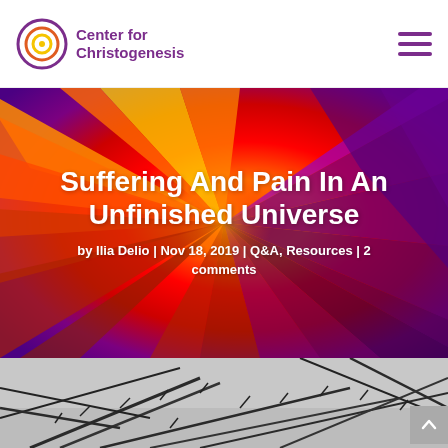Center for Christogenesis
Suffering And Pain In An Unfinished Universe
by Ilia Delio | Nov 18, 2019 | Q&A, Resources | 2 comments
[Figure (photo): Black and white close-up photo of bare thorny branches]
[Figure (illustration): Colorful abstract explosion of paint splashes in red, orange, yellow, and purple serving as hero background]